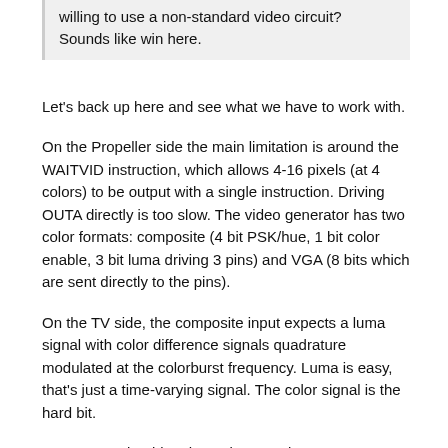willing to use a non-standard video circuit? Sounds like win here.
Let's back up here and see what we have to work with.
On the Propeller side the main limitation is around the WAITVID instruction, which allows 4-16 pixels (at 4 colors) to be output with a single instruction. Driving OUTA directly is too slow. The video generator has two color formats: composite (4 bit PSK/hue, 1 bit color enable, 3 bit luma driving 3 pins) and VGA (8 bits which are sent directly to the pins).
On the TV side, the composite input expects a luma signal with color difference signals quadrature modulated at the colorburst frequency. Luma is easy, that's just a time-varying signal. The color signal is the hard bit.
My 240H sprite driver has a larger color gamut because it drives the 4 pins (3 pin TV DAC + aural sub) at 4 times the colorburst frequency, which gives full control over the color